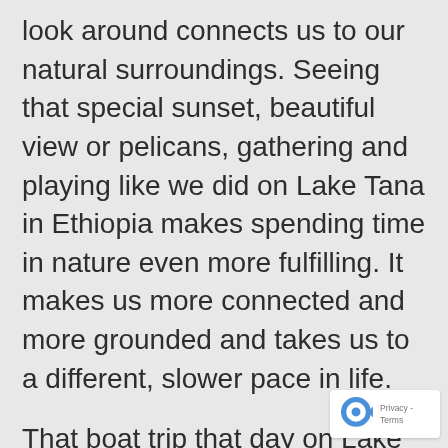look around connects us to our natural surroundings. Seeing that special sunset, beautiful view or pelicans, gathering and playing like we did on Lake Tana in Ethiopia makes spending time in nature even more fulfilling. It makes us more connected and more grounded and takes us to a different, slower pace in life.

That boat trip that day on Lake Tana in Ethiopia was beautiful and peaceful, while it was both energizing and relaxing to walk through the hills, and jungles and